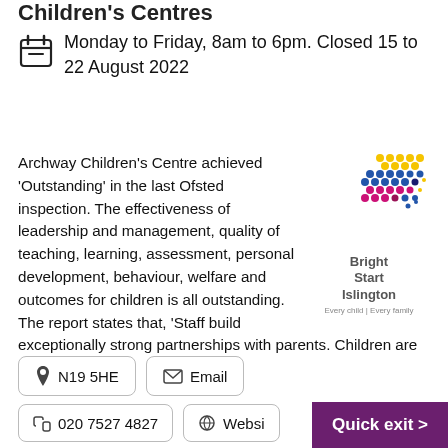Children's Centres
Monday to Friday, 8am to 6pm. Closed 15 to 22 August 2022
Archway Children's Centre achieved 'Outstanding' in the last Ofsted inspection. The effectiveness of leadership and management, quality of teaching, learning, assessment, personal development, behaviour, welfare and outcomes for children is all outstanding. The report states that, 'Staff build exceptionally strong partnerships with parents. Children are happy…
[Figure (logo): Bright Start Islington logo with coloured dots pattern and tagline 'Every child | Every family']
N19 5HE
Email
020 7527 4827
Website
Quick exit >